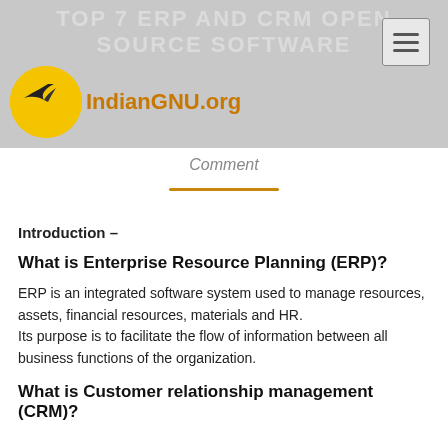TOP 7 ERP AND CRM OPEN SOURCE SOFTWARE — IndianGNU.org
Comment
Introduction –
What is Enterprise Resource Planning (ERP)?
ERP is an integrated software system used to manage resources, assets, financial resources, materials and HR.
Its purpose is to facilitate the flow of information between all business functions of the organization.
What is Customer relationship management (CRM)?